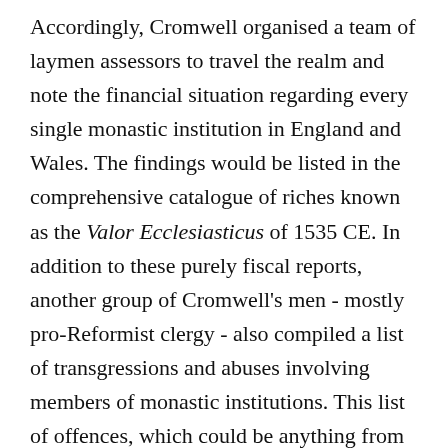Accordingly, Cromwell organised a team of laymen assessors to travel the realm and note the financial situation regarding every single monastic institution in England and Wales. The findings would be listed in the comprehensive catalogue of riches known as the Valor Ecclesiasticus of 1535 CE. In addition to these purely fiscal reports, another group of Cromwell's men - mostly pro-Reformist clergy - also compiled a list of transgressions and abuses involving members of monastic institutions. This list of offences, which could be anything from petty corruption to disregarding the Oath of Supremacy, became the Comperta Monastica (aka Compendium Compertorum), and it would be a handy tool in the repression of the monasteries yet to come. The conclusion of Cromwell's endeavours was that the Church had an annual income of up